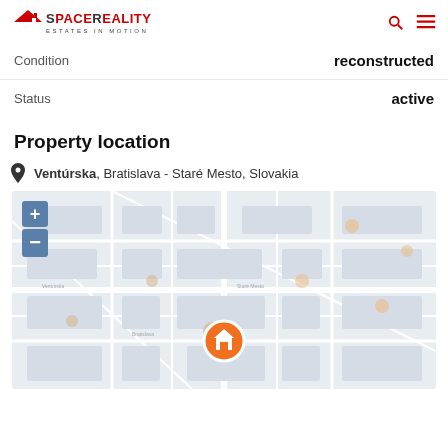SpaceReality Estates in Motion
| Condition | reconstructed |
| Status | active |
Property location
Ventúrska, Bratislava - Staré Mesto, Slovakia
[Figure (map): Interactive map showing property location at Ventúrska, Bratislava - Staré Mesto, Slovakia with zoom controls and a house marker pin]